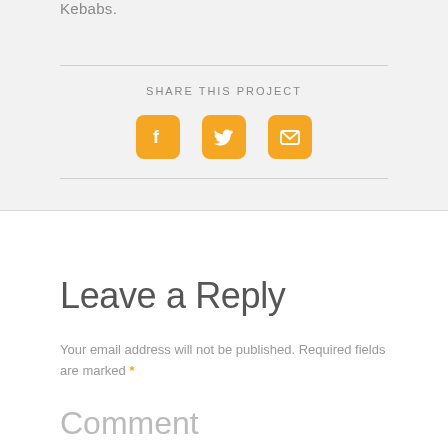Kebabs.
SHARE THIS PROJECT
[Figure (infographic): Three orange rounded-square social sharing icons: Facebook (f), Twitter (bird), Email (envelope)]
Leave a Reply
Your email address will not be published. Required fields are marked *
Comment